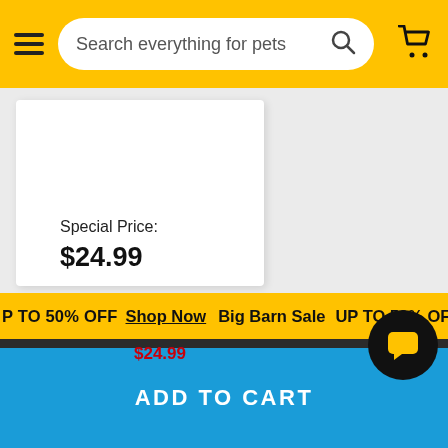Search everything for pets
Special Price:
$24.99
UP TO 50% OFF  Shop Now  Big Barn Sale  UP TO 50% OFF  Shop
$24.99
ADD TO CART